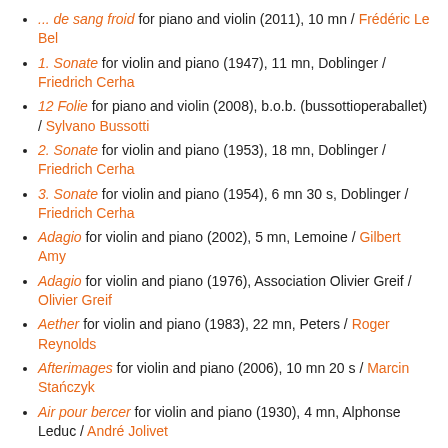... de sang froid for piano and violin (2011), 10 mn / Frédéric Le Bel
1. Sonate for violin and piano (1947), 11 mn, Doblinger / Friedrich Cerha
12 Folie for piano and violin (2008), b.o.b. (bussottioperaballet) / Sylvano Bussotti
2. Sonate for violin and piano (1953), 18 mn, Doblinger / Friedrich Cerha
3. Sonate for violin and piano (1954), 6 mn 30 s, Doblinger / Friedrich Cerha
Adagio for violin and piano (2002), 5 mn, Lemoine / Gilbert Amy
Adagio for violin and piano (1976), Association Olivier Greif / Olivier Greif
Aether for violin and piano (1983), 22 mn, Peters / Roger Reynolds
Afterimages for violin and piano (2006), 10 mn 20 s / Marcin Stańczyk
Air pour bercer for violin and piano (1930), 4 mn, Alphonse Leduc / André Jolivet
Aksak for violin and piano (1997), Peer Music / Théo Loevendie